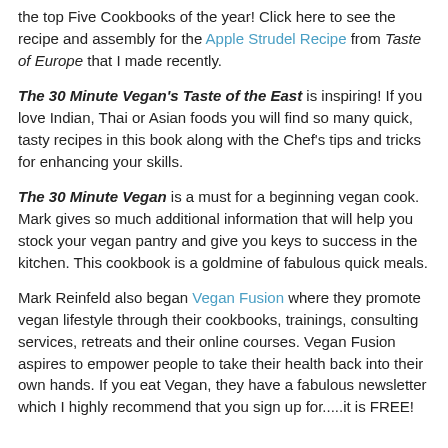the top Five Cookbooks of the year! Click here to see the recipe and assembly for the Apple Strudel Recipe from Taste of Europe that I made recently.
The 30 Minute Vegan's Taste of the East is inspiring! If you love Indian, Thai or Asian foods you will find so many quick, tasty recipes in this book along with the Chef's tips and tricks for enhancing your skills.
The 30 Minute Vegan is a must for a beginning vegan cook. Mark gives so much additional information that will help you stock your vegan pantry and give you keys to success in the kitchen. This cookbook is a goldmine of fabulous quick meals.
Mark Reinfeld also began Vegan Fusion where they promote vegan lifestyle through their cookbooks, trainings, consulting services, retreats and their online courses. Vegan Fusion aspires to empower people to take their health back into their own hands. If you eat Vegan, they have a fabulous newsletter which I highly recommend that you sign up for.....it is FREE!